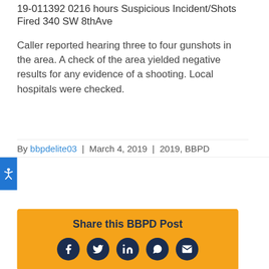19-011392 0216 hours Suspicious Incident/Shots Fired 340 SW 8thAve
Caller reported hearing three to four gunshots in the area. A check of the area yielded negative results for any evidence of a shooting. Local hospitals were checked.
By bbpdelite03  |  March 4, 2019  |  2019, BBPD
[Figure (infographic): Share this BBPD Post panel with Facebook, Twitter, LinkedIn, WhatsApp, and Email social media icon buttons on an orange background]